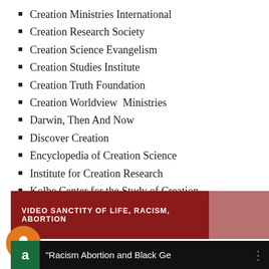Creation Ministries International
Creation Research Society
Creation Science Evangelism
Creation Studies Institute
Creation Truth Foundation
Creation Worldview  Ministries
Darwin, Then And Now
Discover Creation
Encyclopedia of Creation Science
Institute for Creation Research
Kolbe Center for the Study of Creation
[Figure (screenshot): Video banner with dark red background showing text 'VIDEO SANCTITY OF LIFE, RACISM, ABORTION' with a lighter pink/rose section to the right, a circular orange notification bell button overlay, and a black bottom bar showing a green circle with 'a' and text 'Racism Abortion and Black Ge' with a vertical dots menu icon.]